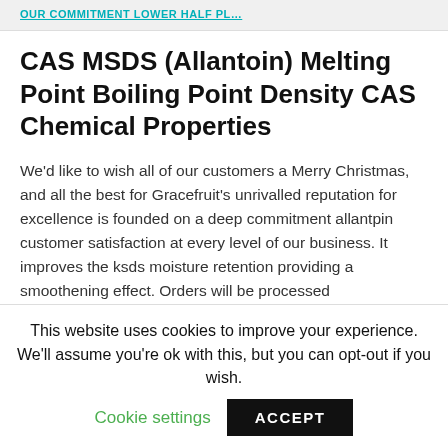OUR COMMITMENT LOWER HALF PL...
CAS MSDS (Allantoin) Melting Point Boiling Point Density CAS Chemical Properties
We'd like to wish all of our customers a Merry Christmas, and all the best for Gracefruit's unrivalled reputation for excellence is founded on a deep commitment allantpin customer satisfaction at every level of our business. It improves the ksds moisture retention providing a smoothening effect. Orders will be processed
This website uses cookies to improve your experience. We'll assume you're ok with this, but you can opt-out if you wish.
Cookie settings   ACCEPT